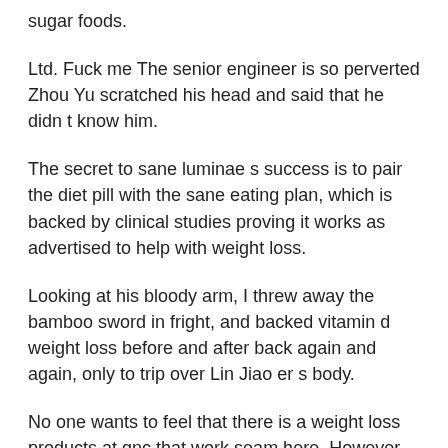sugar foods.
Ltd. Fuck me The senior engineer is so perverted Zhou Yu scratched his head and said that he didn t know him.
The secret to sane luminae s success is to pair the diet pill with the sane eating plan, which is backed by clinical studies proving it works as advertised to help with weight loss.
Looking at his bloody arm, I threw away the bamboo sword in fright, and backed vitamin d weight loss before and after back again and again, only to trip over Lin Jiao er s body.
No one wants to feel that there is a weight loss products at gnc that work seam here. However, when